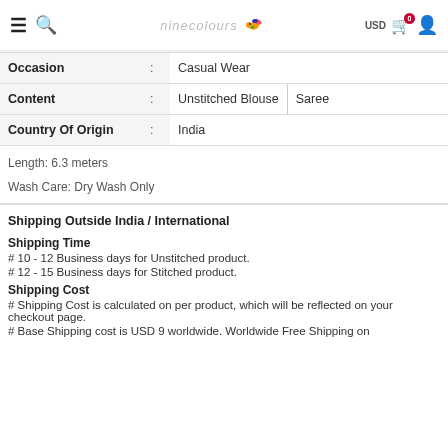ninecolours — navigation bar with hamburger, search, logo, cart (0), USD, user icon
| Attribute |  | Value |
| --- | --- | --- |
| Occasion | : | Casual Wear |
| Content | : | Unstitched Blouse | Saree |
| Country Of Origin | : | India |
Length: 6.3 meters
Wash Care: Dry Wash Only
Shipping Outside India / International
Shipping Time
# 10 - 12 Business days for Unstitched product.
# 12 - 15 Business days for Stitched product.
Shipping Cost
# Shipping Cost is calculated on per product, which will be reflected on your checkout page.
# Base Shipping cost is USD 9 worldwide. Worldwide Free Shipping on